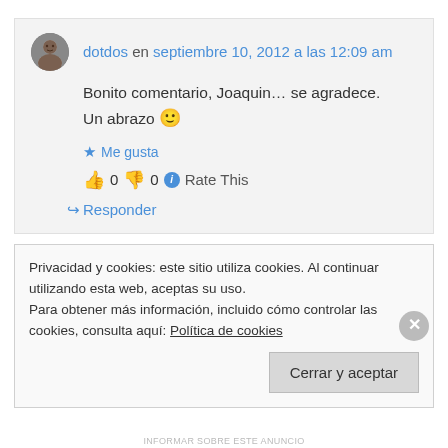dotdos en septiembre 10, 2012 a las 12:09 am
Bonito comentario, Joaquin… se agradece. Un abrazo 🙂
★ Me gusta
👍 0 👎 0 ℹ Rate This
↪ Responder
Privacidad y cookies: este sitio utiliza cookies. Al continuar utilizando esta web, aceptas su uso.
Para obtener más información, incluido cómo controlar las cookies, consulta aquí: Política de cookies
Cerrar y aceptar
INFORMAR SOBRE ESTE ANUNCIO